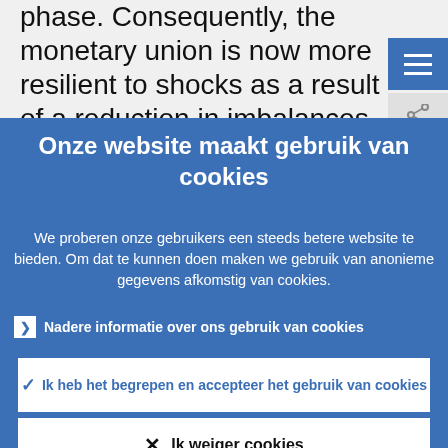phase. Consequently, the monetary union is now more resilient to shocks as a result of a reduction in imbalances and stronger synchronisation of the economic cycle
Onze website maakt gebruik van cookies
We proberen onze gebruikers een steeds betere website te bieden. Om dat te kunnen doen maken we gebruik van anonieme gegevens afkomstig van cookies.
Nadere informatie over ons gebruik van cookies
Ik heb het begrepen en accepteer het gebruik van cookies
Ik weiger cookies